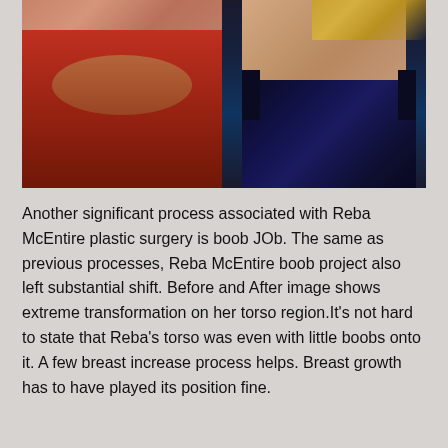[Figure (photo): Two side-by-side photos: left shows a woman in a red top with layered necklaces and reddish-brown hair; right shows a woman in a dark navy sequined dress with blonde hair.]
Another significant process associated with Reba McEntire plastic surgery is boob JOb. The same as previous processes, Reba McEntire boob project also left substantial shift. Before and After image shows extreme transformation on her torso region.It's not hard to state that Reba's torso was even with little boobs onto it. A few breast increase process helps. Breast growth has to have played its position fine.